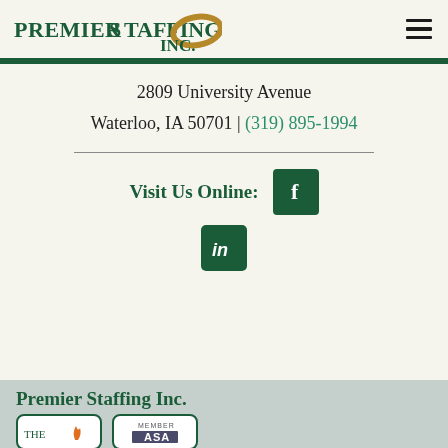[Figure (logo): Premier Staffing Inc. logo with green text and gold ellipse swoosh]
2809 University Avenue
Waterloo, IA 50701 | (319) 895-1994
Visit Us Online:
[Figure (logo): Facebook icon - white f on green square]
[Figure (logo): LinkedIn icon - white 'in' on green square]
Premier Staffing Inc.
[Figure (logo): The Staffing Circle member badge]
[Figure (logo): ASA Member badge]